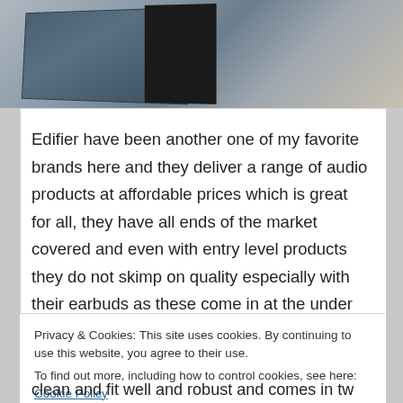[Figure (photo): Top portion of a product box with blue/dark packaging on a light wooden surface]
Edifier have been another one of my favorite brands here and they deliver a range of audio products at affordable prices which is great for all, they have all ends of the market covered and even with entry level products they do not skimp on quality especially with their earbuds as these come in at the under 50 euro range and it is not their first either and once again
Privacy & Cookies: This site uses cookies. By continuing to use this website, you agree to their use.
To find out more, including how to control cookies, see here: Cookie Policy
Close and accept
clean and fit well and robust and comes in tw...